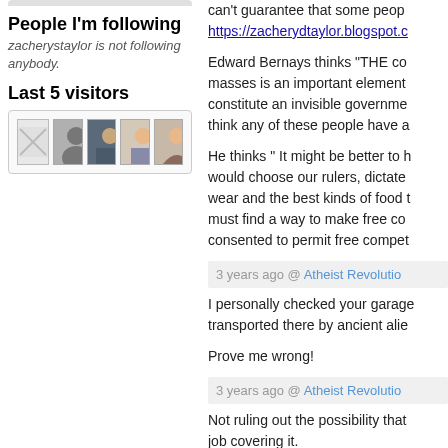People I'm following
zacherystaylor is not following anybody.
Last 5 visitors
[Figure (photo): Five visitor thumbnail photos in a row]
can't guarantee that some peop…
https://zacherydtaylor.blogspot.c…
Edward Bernays thinks "THE co… masses is an important element… constitute an invisible governme… think any of these people have a…
He thinks " It might be better to h… would choose our rulers, dictate… wear and the best kinds of food t… must find a way to make free co… consented to permit free compet…
3 years ago @ Atheist Revolutio…
I personally checked your garage… transported there by ancient alie…
Prove me wrong!
3 years ago @ Atheist Revolutio…
Not ruling out the possibility that… job covering it.